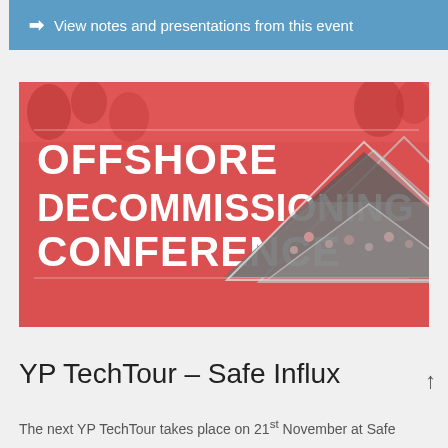➡ View notes and presentations from this event
[Figure (illustration): Red conference promotional banner with white text reading OFFSHORE DECOMMISSIONING CONFERENCE, with a downward-pointing triangle graphic containing a crowd photo on the right side]
YP TechTour – Safe Influx
The next YP TechTour takes place on 21st November at Safe